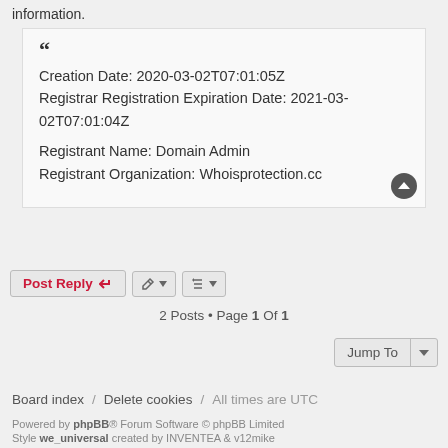information.
Creation Date: 2020-03-02T07:01:05Z
Registrar Registration Expiration Date: 2021-03-02T07:01:04Z

Registrant Name: Domain Admin
Registrant Organization: Whoisprotection.cc
2 Posts • Page 1 Of 1
Board index / Delete cookies / All times are UTC
Powered by phpBB® Forum Software © phpBB Limited
Style we_universal created by INVENTEA & v12mike